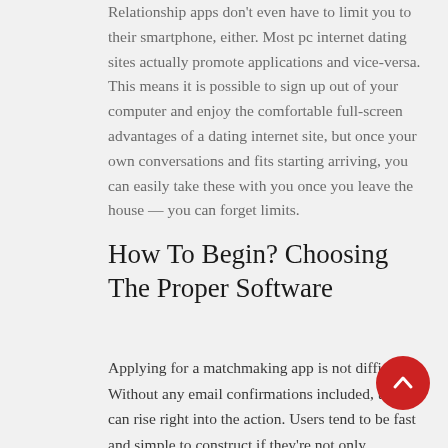Relationship apps don't even have to limit you to their smartphone, either. Most pc internet dating sites actually promote applications and vice-versa. This means it is possible to sign up out of your computer and enjoy the comfortable full-screen advantages of a dating internet site, but once your own conversations and fits starting arriving, you can easily take these with you once you leave the house — you can forget limits.
How To Begin? Choosing The Proper Software
Applying for a matchmaking app is not difficult. Without any email confirmations included, users can rise right into the action. Users tend to be fast and simple to construct if they're not only published from your myspace profile. Establishing a dating app can be so fast that you may, in theory, go from getting the software to being face-to-face with a new complement within just 15 minutes — should